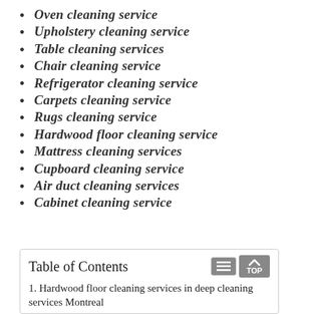Oven cleaning service
Upholstery cleaning service
Table cleaning services
Chair cleaning service
Refrigerator cleaning service
Carpets cleaning service
Rugs cleaning service
Hardwood floor cleaning service
Mattress cleaning services
Cupboard cleaning service
Air duct cleaning services
Cabinet cleaning service
Table of Contents
1. Hardwood floor cleaning services in deep cleaning services Montreal